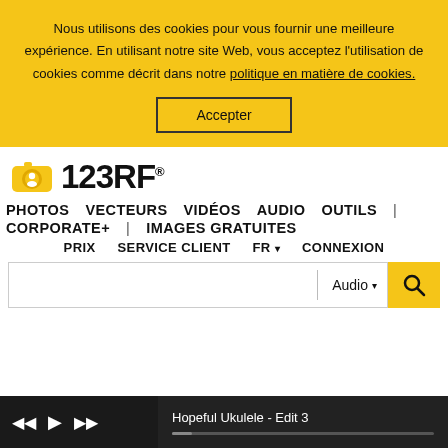Nous utilisons des cookies pour vous fournir une meilleure expérience. En utilisant notre site Web, vous acceptez l'utilisation de cookies comme décrit dans notre politique en matière de cookies.
Accepter
[Figure (logo): 123RF logo with yellow camera icon and bold black text '123RF' with registered trademark symbol]
PHOTOS   VECTEURS   VIDÉOS   AUDIO   OUTILS   |
CORPORATE+   |   IMAGES GRATUITES
PRIX   SERVICE CLIENT   FR ▾   CONNEXION
Audio ▾
Hopeful Ukulele - Edit 3